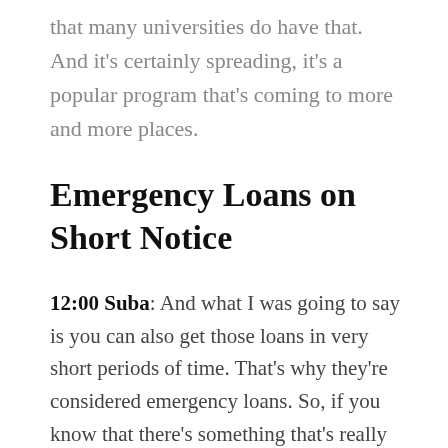that many universities do have that. And it's certainly spreading, it's a popular program that's coming to more and more places.
Emergency Loans on Short Notice
12:00 Suba: And what I was going to say is you can also get those loans in very short periods of time. That's why they're considered emergency loans. So, if you know that there's something that's really looming on the horizon and even it's